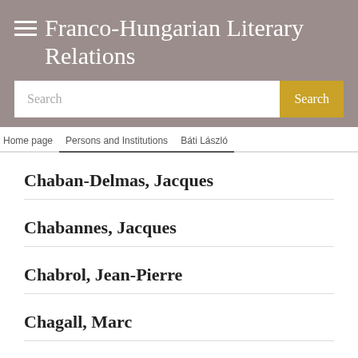Franco-Hungarian Literary Relations
Search
Home page / Persons and Institutions / Báti László
Chaban-Delmas, Jacques
Chabannes, Jacques
Chabrol, Jean-Pierre
Chagall, Marc